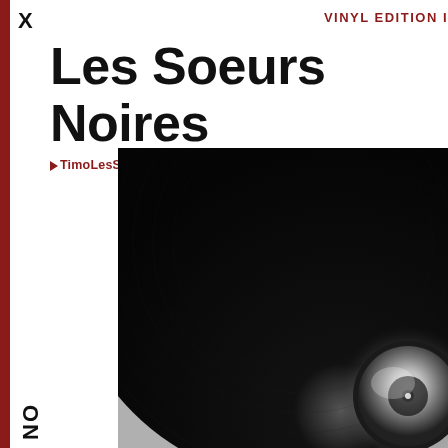X
VINYL EDITION I
Les Soeurs Noires
▶ TimoLesSoeursNoires, ▶ danielLesSoeursNoires
[Figure (photo): Close-up black and white photograph of a vinyl record, showing the grooved disc and center label with light reflection, cropped so the record extends beyond the frame.]
NO